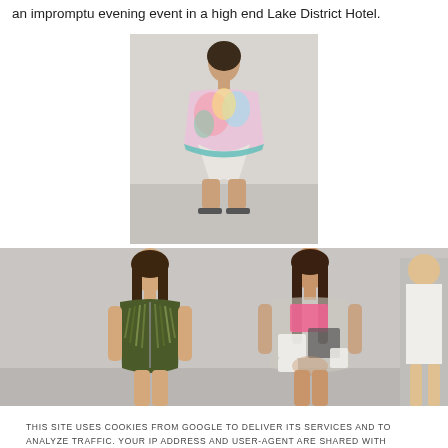an impromptu evening event in a high end Lake District Hotel.
[Figure (photo): Fashion model on runway wearing colorful pastel tie-dye oversized top with white shorts and sandals]
[Figure (photo): Two fashion models on runway: left model wearing olive green feathered/fringed vest with long brown hair; right model wearing sheer top with pink, white and black color block panels]
THIS SITE USES COOKIES FROM GOOGLE TO DELIVER ITS SERVICES AND TO ANALYZE TRAFFIC. YOUR IP ADDRESS AND USER-AGENT ARE SHARED WITH